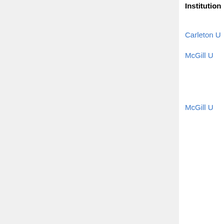| Institution | Areas | Apply by | Short lists and offers |
| --- | --- | --- | --- |
| Carleton U | appl anal | Dec 1 |  |
| McGill U | number thy | Nov 15 | Alina Bucur, Mirela Ciperiani, Jayce Getz, Ritabrata Munshi, Ameya Pitale, Cristian Virdol, Michael Zieve |
| McGill U | applied (≤3) (u) | Nov 30 | David Anderson, Margaret Beck, Laurent Demanet, John ... |